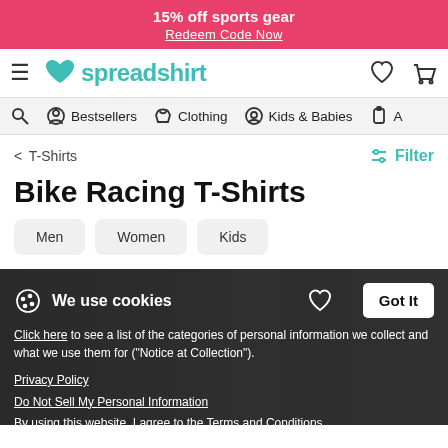15% off sports gear
Redeem Code Now
[Figure (screenshot): Spreadshirt website navigation bar with hamburger menu, teal heart logo and 'spreadshirt' text, heart icon and cart icon]
[Figure (screenshot): Category navigation bar with search icon, Bestsellers, Clothing, Kids & Babies categories]
< T-Shirts    Filter
Bike Racing T-Shirts
Men
Women
Kids
[Figure (screenshot): Cookie consent overlay on top of product images showing 'We use cookies' message with Got It button, privacy policy links, and terms and conditions]
Click here to see a list of the categories of personal information we collect and what we use them for ("Notice at Collection").
Privacy Policy
Do Not Sell My Personal Information
By using this website, I agree to the Terms and Conditions